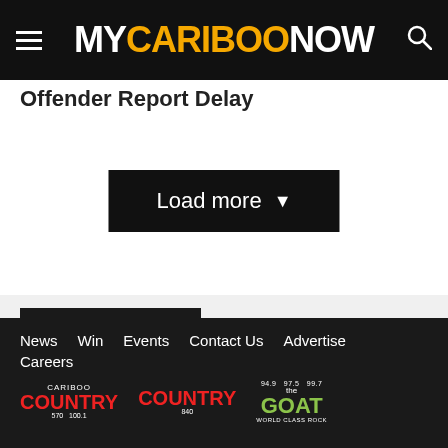MYCARIBOONOW
Offender Report Delay
Load more ▾
YOU MAY ALSO LIKE
News  Win  Events  Contact Us  Advertise  Careers